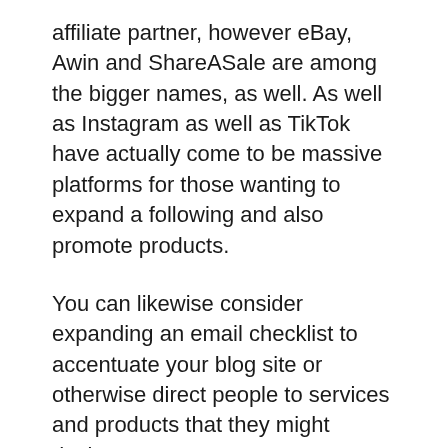affiliate partner, however eBay, Awin and ShareASale are among the bigger names, as well. As well as Instagram as well as TikTok have actually come to be massive platforms for those wanting to expand a following and also promote products.
You can likewise consider expanding an email checklist to accentuate your blog site or otherwise direct people to services and products that they might desire.
When a site visitor clicks the link as well as purchases from the third-party associate, the site proprietor makes a commission.
The commission could range from 3 to 7 percent, so it will likely take considerable